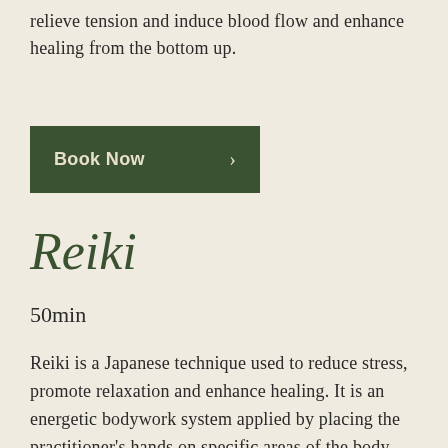relieve tension and induce blood flow and enhance healing from the bottom up.
Book Now
Reiki
50min
Reiki is a Japanese technique used to reduce stress, promote relaxation and enhance healing. It is an energetic bodywork system applied by placing the practitioner's hands on specific areas of the body, supporting the "life force energy" that flows through us. The word Reiki is made up of two Japanese words - Rei meaning "Higher Power" and